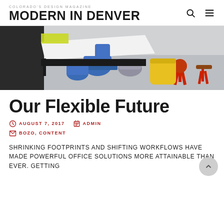COLORADO'S DESIGN MAGAZINE | MODERN IN DENVER
[Figure (photo): Office/classroom space with white tables, blue chairs, a yellow cube ottoman, and red accent stools on grey carpet]
Our Flexible Future
AUGUST 7, 2017   ADMIN   BOZO, CONTENT
SHRINKING FOOTPRINTS AND SHIFTING WORKFLOWS HAVE MADE POWERFUL OFFICE SOLUTIONS MORE ATTAINABLE THAN EVER. GETTING